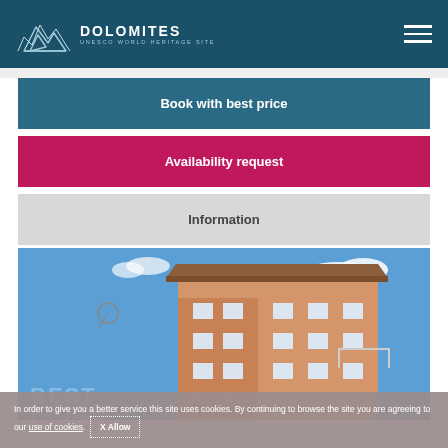[Figure (logo): Dolomites UNESCO World Heritage Site logo with mountain line illustration and text]
Book with best price
Availability request
Information
[Figure (photo): Photo of a multi-story hotel or apartment building with orange/beige facade against a blue sky with clouds]
In order to give you a better service this site uses cookies. By continuing to browse the site you are agreeing to our use of cookies.  X Allow